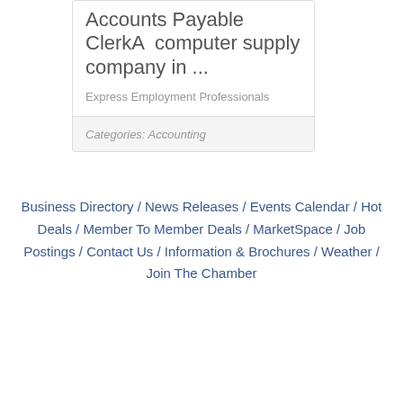Accounts Payable ClerkA computer supply company in ...
Express Employment Professionals
Categories: Accounting
Business Directory / News Releases / Events Calendar / Hot Deals / Member To Member Deals / MarketSpace / Job Postings / Contact Us / Information & Brochures / Weather / Join The Chamber